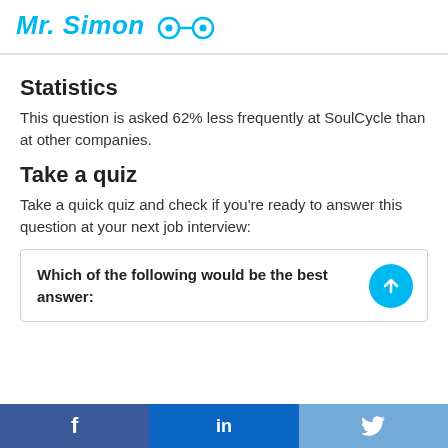Mr. Simon
Statistics
This question is asked 62% less frequently at SoulCycle than at other companies.
Take a quiz
Take a quick quiz and check if you're ready to answer this question at your next job interview:
Which of the following would be the best answer:
f  in  🐦